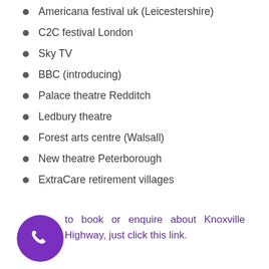Americana festival uk (Leicestershire)
C2C festival London
Sky TV
BBC (introducing)
Palace theatre Redditch
Ledbury theatre
Forest arts centre (Walsall)
New theatre Peterborough
ExtraCare retirement villages
to book or enquire about Knoxville Highway, just click this link.